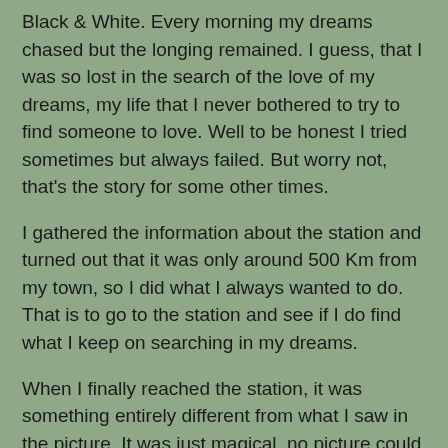Black & White. Every morning my dreams chased but the longing remained. I guess, that I was so lost in the search of the love of my dreams, my life that I never bothered to try to find someone to love. Well to be honest I tried sometimes but always failed. But worry not, that's the story for some other times.
I gathered the information about the station and turned out that it was only around 500 Km from my town, so I did what I always wanted to do. That is to go to the station and see if I do find what I keep on searching in my dreams.
When I finally reached the station, it was something entirely different from what I saw in the picture. It was just magical, no picture could do justice to the view, you can only appreciate the true beauty of it all only when you see it yourself. To top it all the weather was just magical.
I was sitting on the bench on the platform and enjoying the weather, when I heard the most beautiful voice ever asking me - " Excuse me? Is this seat taken?"